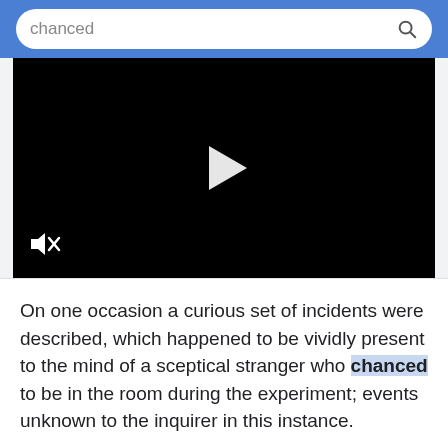chanced
[Figure (screenshot): A black video player with a white play button triangle in the center and a muted speaker icon in the bottom left corner.]
On one occasion a curious set of incidents were described, which happened to be vividly present to the mind of a sceptical stranger who chanced to be in the room during the experiment; events unknown to the inquirer in this instance.